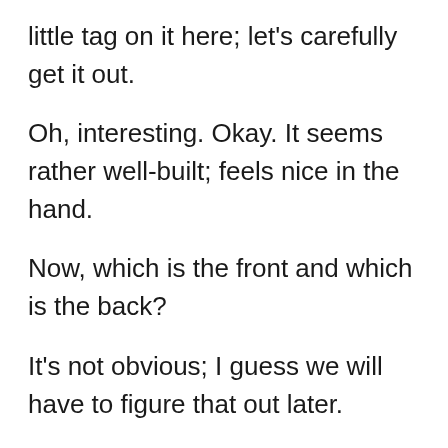little tag on it here; let’s carefully get it out.
Oh, interesting. Okay. It seems rather well-built; feels nice in the hand.
Now, which is the front and which is the back?
It’s not obvious; I guess we will have to figure that out later.